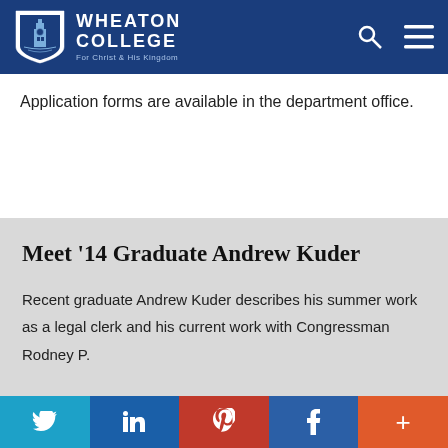Wheaton College — For Christ and His Kingdom
Application forms are available in the department office.
Meet '14 Graduate Andrew Kuder
Recent graduate Andrew Kuder describes his summer work as a legal clerk and his current work with Congressman Rodney P.
Social share bar: Twitter, LinkedIn, Pinterest, Facebook, More